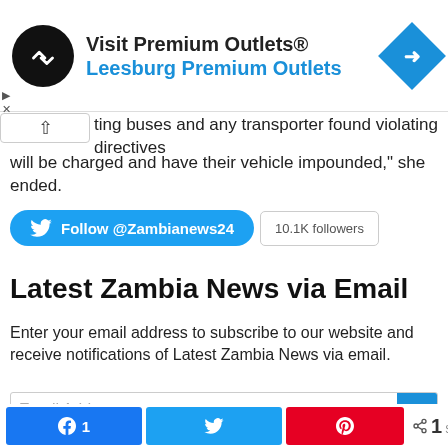[Figure (other): Advertisement banner for Visit Premium Outlets / Leesburg Premium Outlets with circular black logo and blue diamond arrow icon]
ting buses and any transporter found violating directives will be charged and have their vehicle impounded," she ended.
[Figure (other): Twitter Follow button for @Zambianews24 showing 10.1K followers]
Latest Zambia News via Email
Enter your email address to subscribe to our website and receive notifications of Latest Zambia News via email.
[Figure (other): Email Address input field]
[Figure (other): Social share bar with Facebook (1), Twitter, Pinterest buttons and 1 SHARES count]